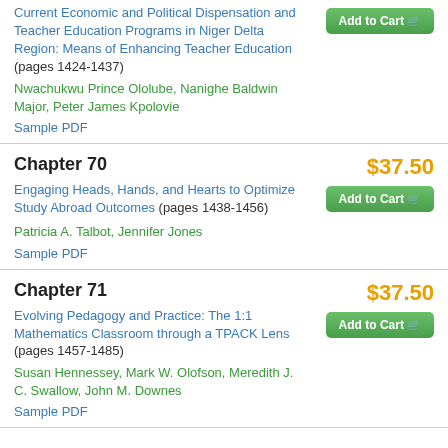Current Economic and Political Dispensation and Teacher Education Programs in Niger Delta Region: Means of Enhancing Teacher Education (pages 1424-1437)
Nwachukwu Prince Ololube, Nanighe Baldwin Major, Peter James Kpolovie
Sample PDF
Chapter 70
$37.50
Engaging Heads, Hands, and Hearts to Optimize Study Abroad Outcomes (pages 1438-1456)
Patricia A. Talbot, Jennifer Jones
Sample PDF
Chapter 71
$37.50
Evolving Pedagogy and Practice: The 1:1 Mathematics Classroom through a TPACK Lens (pages 1457-1485)
Susan Hennessey, Mark W. Olofson, Meredith J. C. Swallow, John M. Downes
Sample PDF